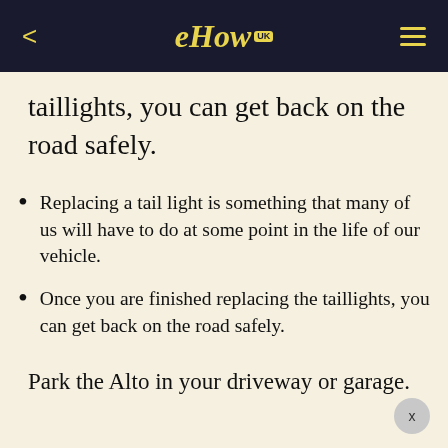eHow UK
taillights, you can get back on the road safely.
Replacing a tail light is something that many of us will have to do at some point in the life of our vehicle.
Once you are finished replacing the taillights, you can get back on the road safely.
Park the Alto in your driveway or garage.